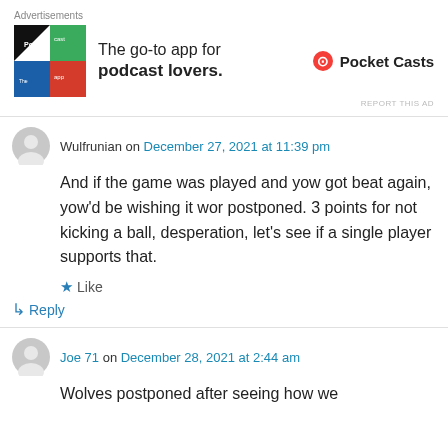[Figure (other): Pocket Casts advertisement banner showing app icon and tagline 'The go-to app for podcast lovers.']
Wulfrunian on December 27, 2021 at 11:39 pm
And if the game was played and yow got beat again, yow'd be wishing it wor postponed. 3 points for not kicking a ball, desperation, let's see if a single player supports that.
★ Like
↳ Reply
Joe 71 on December 28, 2021 at 2:44 am
Wolves postponed after seeing how we